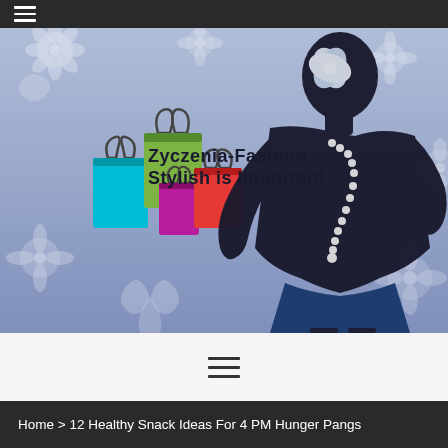≡ (hamburger nav)
[Figure (illustration): Fashion blog hero banner with a blue-lavender background featuring white floral patterns, a black silhouette of a woman wearing a necklace and flower hair accessory, and colorful shopping bags (cyan, green, magenta, red). Overlay text reads 'Zyczenia-Fashion' and 'Stylish is Important'.]
Zyczenia-Fashion Stylish is Important
≡ (hamburger menu icon)
Home > 12 Healthy Snack Ideas For 4 PM Hunger Pangs